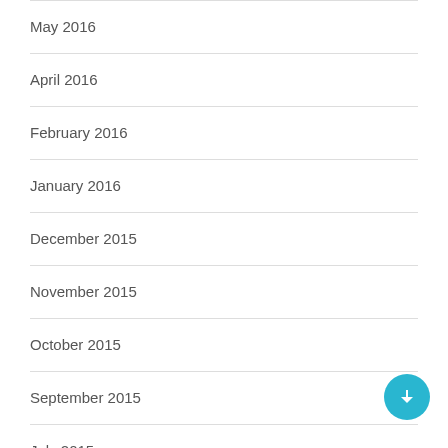May 2016
April 2016
February 2016
January 2016
December 2015
November 2015
October 2015
September 2015
July 2015